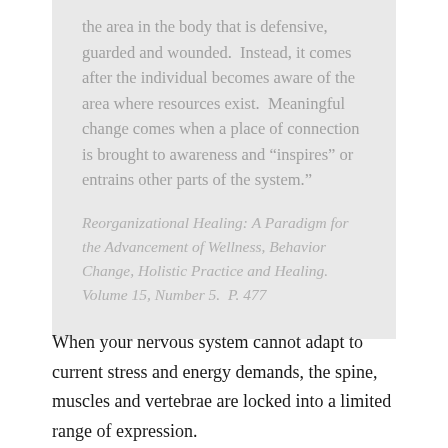the area in the body that is defensive, guarded and wounded.  Instead, it comes after the individual becomes aware of the area where resources exist.  Meaningful change comes when a place of connection is brought to awareness and "inspires" or entrains other parts of the system."
Reorganizational Healing: A Paradigm for the Advancement of Wellness, Behavior Change, Holistic Practice and Healing. Volume 15, Number 5.  P. 477
When your nervous system cannot adapt to current stress and energy demands, the spine, muscles and vertebrae are locked into a limited range of expression.